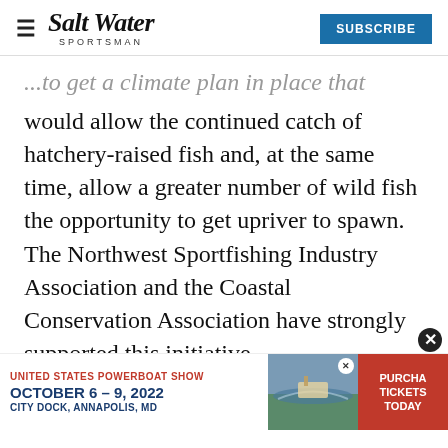Salt Water Sportsman — SUBSCRIBE
...would allow the continued catch of hatchery-raised fish and, at the same time, allow a greater number of wild fish the opportunity to get upriver to spawn. The Northwest Sportfishing Industry Association and the Coastal Conservation Association have strongly supported this initiative.
The desire is to have consistent and concurrent policies by both states. While there...
[Figure (other): Advertisement banner for United States Powerboat Show, October 6–9, 2022, City Dock, Annapolis, MD with Purchase Tickets Today call to action]